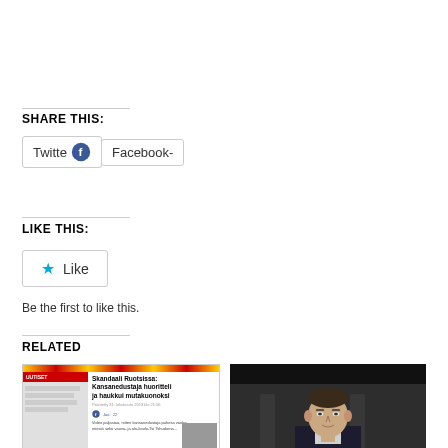SHARE THIS:
Twitter Facebook
LIKE THIS:
Like
Be the first to like this.
RELATED
[Figure (screenshot): Thumbnail of a Finnish news article: Skandaali Ruotsissa: Kansanedustaja huoritteli ja haukkui mutakuonoksi]
[Figure (photo): Photo of a young man in a suit against a blurred background]